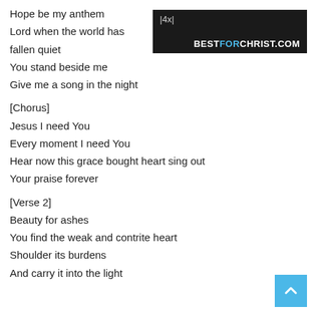Hope be my anthem
Lord when the world has
fallen quiet
You stand beside me
Give me a song in the night
[Figure (other): Dark banner with |4x| tag and BESTFORCHRIST.COM watermark]
[Chorus]
Jesus I need You
Every moment I need You
Hear now this grace bought heart sing out
Your praise forever
[Verse 2]
Beauty for ashes
You find the weak and contrite heart
Shoulder its burdens
And carry it into the light